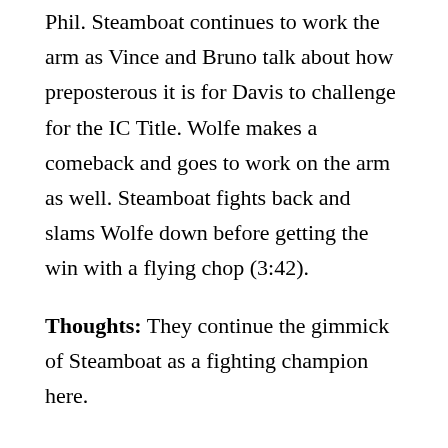Phil. Steamboat continues to work the arm as Vince and Bruno talk about how preposterous it is for Davis to challenge for the IC Title. Wolfe makes a comeback and goes to work on the arm as well. Steamboat fights back and slams Wolfe down before getting the win with a flying chop (3:42).
Thoughts: They continue the gimmick of Steamboat as a fighting champion here.
Okerlund is with Jimmy Hart and Danny Davis as they talk about George Steele. Honky comes out and briefly plays the guitar before leaving. Heenan comes out and says that while he was not there the last time, he will be there to